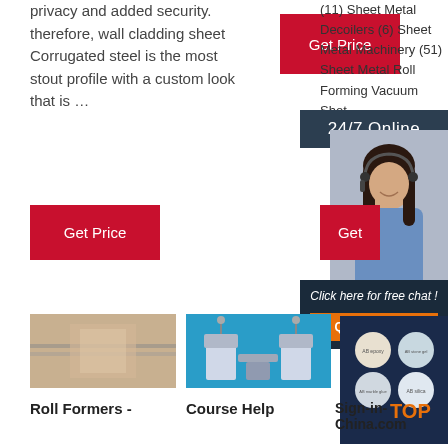privacy and added security. therefore, wall cladding sheet Corrugated steel is the most stout profile with a custom look that is …
[Figure (photo): Red 'Get Price' button, top center]
(11) Sheet Metal Decoilers (6) Sheet Metal Machinery (51) Sheet Metal Roll Forming Vacuum Shot ..
[Figure (photo): 24/7 Online banner with customer service agent photo, chat popup with QUOTATION button]
[Figure (photo): Red 'Get Price' button, left]
[Figure (photo): Red 'Get' button, right partial]
[Figure (photo): Product image left - close-up of metal/food processing]
[Figure (photo): Product image center - industrial machinery on blue background]
[Figure (photo): Product image right - epoxy/resin products on dark blue background with TOP label]
Roll Formers -
Course Help
Sign-in-China.com